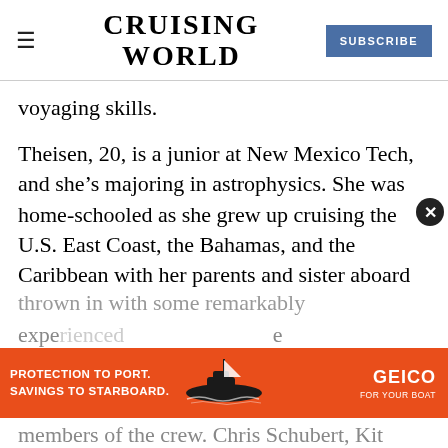≡  CRUISING WORLD  SUBSCRIBE
voyaging skills.
Theisen, 20, is a junior at New Mexico Tech, and she's majoring in astrophysics. She was home-schooled as she grew up cruising the U.S. East Coast, the Bahamas, and the Caribbean with her parents and sister aboard their Gulfstar 41. Kate's clearly comfortable aboard a boat, but with the Morning Light crew, she was thrown in with some remarkably experienced members of the crew. Chris Schubert, Kit
[Figure (other): GEICO advertisement banner: orange background with text 'PROTECTION TO PORT. SAVINGS TO STARBOARD.' and GEICO FOR YOUR BOAT logo with boat silhouette]